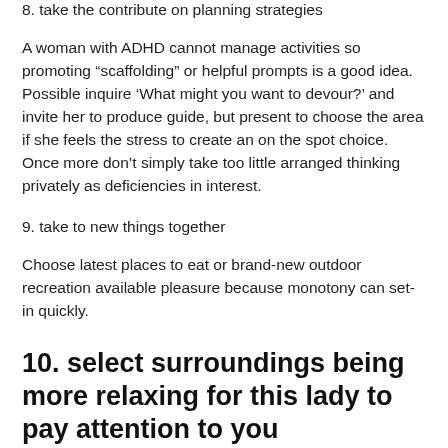8. take the contribute on planning strategies
A woman with ADHD cannot manage activities so promoting “scaffolding” or helpful prompts is a good idea. Possible inquire ‘What might you want to devour?’ and invite her to produce guide, but present to choose the area if she feels the stress to create an on the spot choice. Once more don’t simply take too little arranged thinking privately as deficiencies in interest.
9. take to new things together
Choose latest places to eat or brand-new outdoor recreation available pleasure because monotony can set-in quickly.
10. select surroundings being more relaxing for this lady to pay attention to you